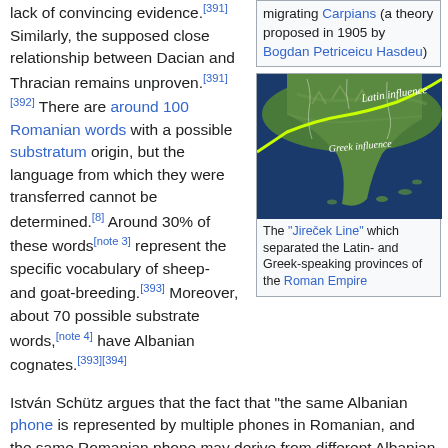lack of convincing evidence.[391] Similarly, the supposed close relationship between Dacian and Thracian remains unproven.[391][392] There are around 100 Romanian words with a possible substratum origin, but the language from which they were transferred cannot be determined.[8] Around 30% of these words[note 3] represent the specific vocabulary of sheep- and goat-breeding.[393] Moreover, about 70 possible substrate words,[note 4] have Albanian cognates.[393][394] István Schütz argues that the fact that "the same Albanian phone is represented by multiple phones in Romanian, and the same Romanian phone may derive from different Albanian phones" suggests an "Albanian–Romanian
migrating Carpians (a theory proposed in 1905 by Bogdan Petriceicu Hasdeu)
[Figure (map): Map showing the Jireček Line dividing Latin and Greek influence regions in the Balkans, with a bright yellow-green line across the terrain.]
The "Jireček Line" which separated the Latin- and Greek-speaking provinces of the Roman Empire